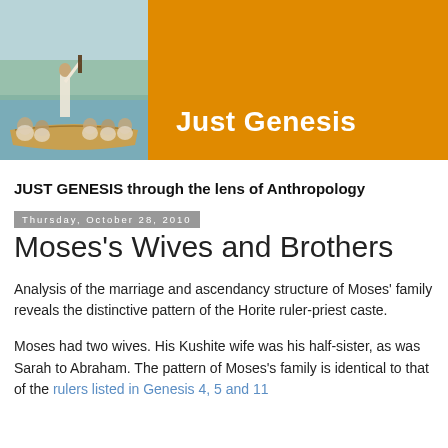[Figure (photo): Blog header banner with a photo of people on a boat on a river on the left, and an orange background with 'Just Genesis' text on the right]
JUST GENESIS through the lens of Anthropology
Thursday, October 28, 2010
Moses's Wives and Brothers
Analysis of the marriage and ascendancy structure of Moses' family reveals the distinctive pattern of the Horite ruler-priest caste.
Moses had two wives. His Kushite wife was his half-sister, as was Sarah to Abraham. The pattern of Moses's family is identical to that of the rulers listed in Genesis 4, 5 and 11